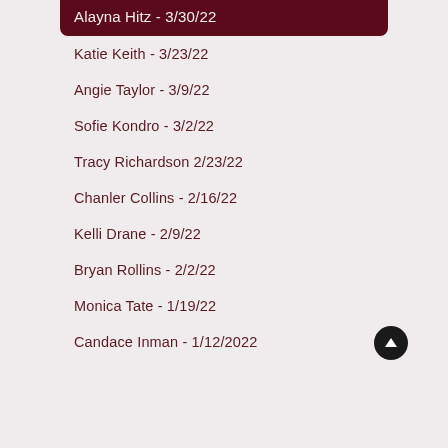Alayna Hitz - 3/30/22
Katie Keith - 3/23/22
Angie Taylor - 3/9/22
Sofie Kondro - 3/2/22
Tracy Richardson 2/23/22
Chanler Collins - 2/16/22
Kelli Drane - 2/9/22
Bryan Rollins - 2/2/22
Monica Tate - 1/19/22
Candace Inman - 1/12/2022